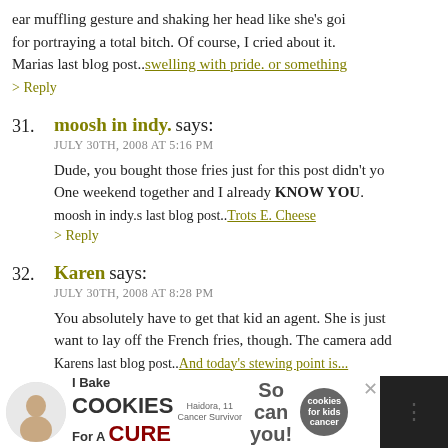ear muffling gesture and shaking her head like she's goi for portraying a total bitch. Of course, I cried about it. Marias last blog post..swelling with pride. or something
> Reply
31. moosh in indy. says:
JULY 30TH, 2008 AT 5:16 PM
Dude, you bought those fries just for this post didn't yo One weekend together and I already KNOW YOU.
moosh in indy.s last blog post..Trots E. Cheese
> Reply
32. Karen says:
JULY 30TH, 2008 AT 8:28 PM
You absolutely have to get that kid an agent. She is just want to lay off the French fries, though. The camera add Karens last blog post..And today's stewing point is...
[Figure (screenshot): Advertisement banner: 'I Bake COOKIES For A CURE' with an image of a girl and badges]